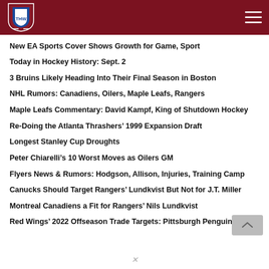[Figure (logo): The Hockey Writers (THW) shield logo with hamburger menu on dark red navigation bar]
New EA Sports Cover Shows Growth for Game, Sport
Today in Hockey History: Sept. 2
3 Bruins Likely Heading Into Their Final Season in Boston
NHL Rumors: Canadiens, Oilers, Maple Leafs, Rangers
Maple Leafs Commentary: David Kampf, King of Shutdown Hockey
Re-Doing the Atlanta Thrashers' 1999 Expansion Draft
Longest Stanley Cup Droughts
Peter Chiarelli's 10 Worst Moves as Oilers GM
Flyers News & Rumors: Hodgson, Allison, Injuries, Training Camp
Canucks Should Target Rangers' Lundkvist But Not for J.T. Miller
Montreal Canadiens a Fit for Rangers' Nils Lundkvist
Red Wings' 2022 Offseason Trade Targets: Pittsburgh Penguins